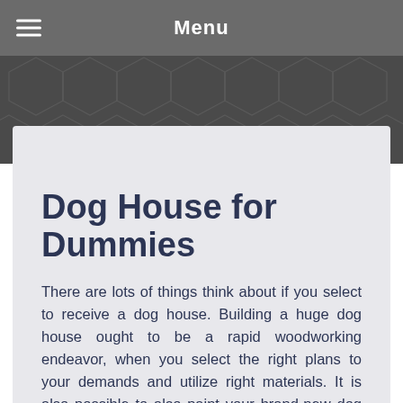Menu
Dog House for Dummies
There are lots of things think about if you select to receive a dog house. Building a huge dog house ought to be a rapid woodworking endeavor, when you select the right plans to your demands and utilize right materials. It is also possible to also paint your brand-new dog house along with the exact color as your residence to make it even more attractive.
After you’ve created your dog house, make sure to throw me a picture of the dog house along with a quick recommendation. Building a doghouse yourself is one